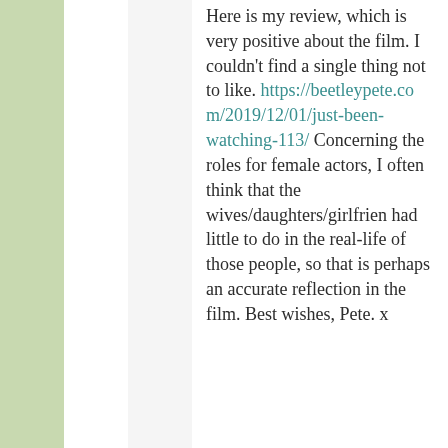Here is my review, which is very positive about the film. I couldn't find a single thing not to like. https://beetleypete.com/2019/12/01/just-been-watching-113/ Concerning the roles for female actors, I often think that the wives/daughters/girlfrien had little to do in the real-life of those people, so that is perhaps an accurate reflection in the film. Best wishes, Pete. x